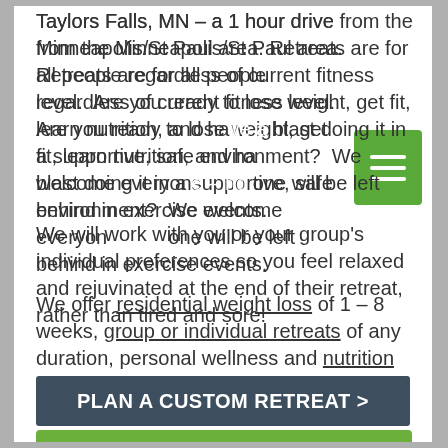Taylors Falls, MN – a 1 hour drive from the Minneapolis/St Paul area. Retreats are for all people regardless of current fitness level.  Are you ready to lose weight, get fit, learn nutrition, and have a blast doing it in a supportive, safe environment?  We welcome everyone – no one will be left behind in exercise events.
We will work with you or your group's individual preferences so you feel relaxed and rejuvinated at the end of their retreat, rather than tired and sore!
We offer residential weight loss of 1 – 8 weeks, group or individual retreats of any duration, personal wellness and nutrition coaching with Amy Sotis, or 1 Day Church/Business Wellness events
PLAN A CUSTOM RETREAT >
Gourmet meals based on